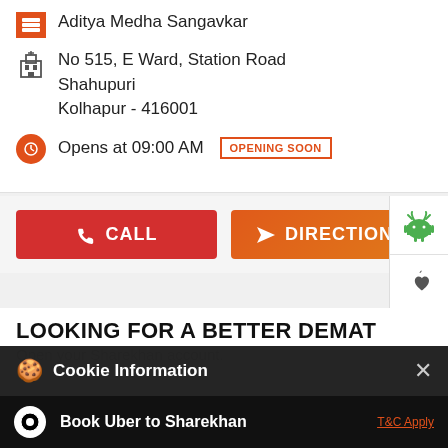Aditya Medha Sangavkar
No 515, E Ward, Station Road
Shahupuri
Kolhapur - 416001
Opens at 09:00 AM   OPENING SOON
CALL
DIRECTIONS
LOOKING FOR A BETTER DEMAT
Open your Sharekhan account.
Cookie Information
On our website, we use services (including from third-party providers) that help us to improve our online presence (optimization of website) and to display content that is geared to their interests. We need your consent before being able to use these services.
Phone No.   10 Digit Mobile Number
Book Uber to Sharekhan   T&C Apply